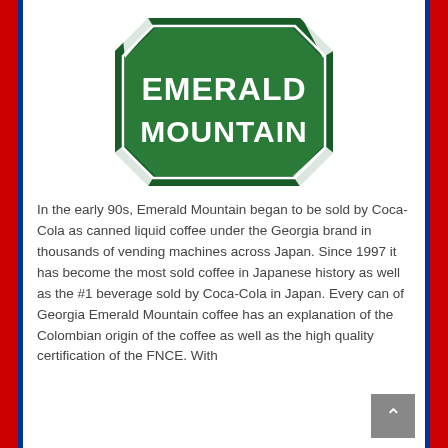[Figure (logo): Emerald Mountain logo — octagonal green badge with white border and white bold text reading EMERALD MOUNTAIN]
In the early 90s, Emerald Mountain began to be sold by Coca-Cola as canned liquid coffee under the Georgia brand in thousands of vending machines across Japan. Since 1997 it has become the most sold coffee in Japanese history as well as the #1 beverage sold by Coca-Cola in Japan. Every can of Georgia Emerald Mountain coffee has an explanation of the Colombian origin of the coffee as well as the high quality certification of the FNCE. With